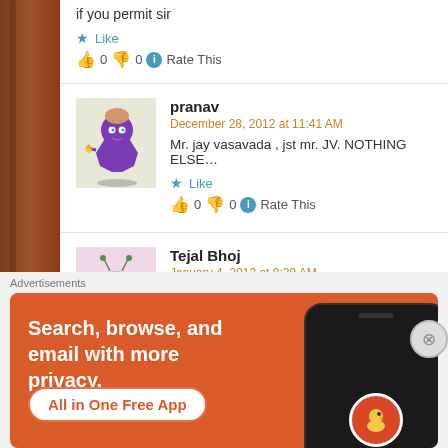if you permit sir
Like
👍 0  👎 0  ℹ Rate This
pranav
December 28, 2012 at 11:41 AM
Mr. jay vasavada , jst mr. JV. NOTHING ELSE...
Like
👍 0  👎 0  ℹ Rate This
Tejal Bhoj
January 4, 2013 at 9:29 AM
Gm jv
Advertisements
[Figure (screenshot): DuckDuckGo advertisement banner with orange background showing 'Search, browse, and email with more privacy. All in One Free App' text and a phone mockup displaying DuckDuckGo logo]